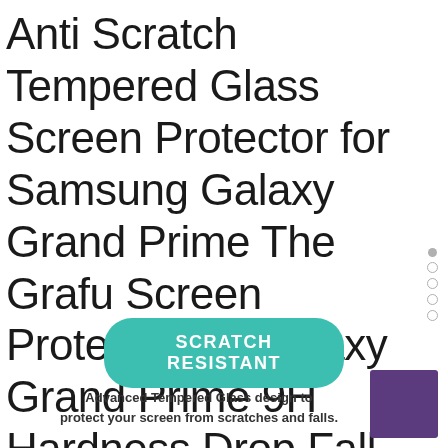Anti Scratch Tempered Glass Screen Protector for Samsung Galaxy Grand Prime The Grafu Screen Protector for Galaxy Grand Prime 9H Hardness Drop Fall Protection 1 Pack
[Figure (infographic): Teal/green rounded rectangle badge with white bold text reading SCRATCH RESISTANT]
Advanced Tempered Glass design to protect your screen from scratches and falls.
[Figure (other): Small purple square in bottom right corner]